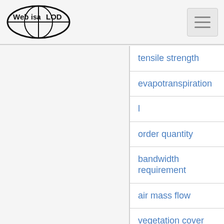Web isa LOD
tensile strength
evapotranspiration
l
order quantity
bandwidth requirement
air mass flow
vegetation cover
filter frequency
memory timing
other thing
throttle valve position